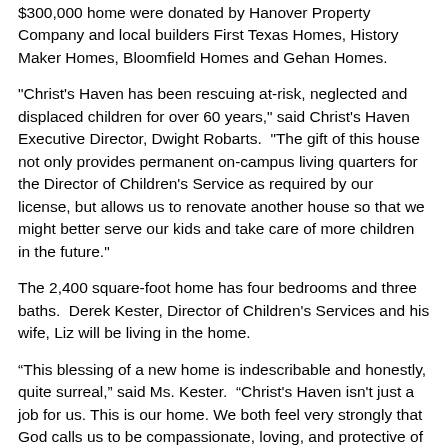$300,000 home were donated by Hanover Property Company and local builders First Texas Homes, History Maker Homes, Bloomfield Homes and Gehan Homes.
"Christ's Haven has been rescuing at-risk, neglected and displaced children for over 60 years," said Christ's Haven Executive Director, Dwight Robarts.  “The gift of this house not only provides permanent on-campus living quarters for the Director of Children's Service as required by our license, but allows us to renovate another house so that we might better serve our kids and take care of more children in the future."
The 2,400 square-foot home has four bedrooms and three baths.  Derek Kester, Director of Children’s Services and his wife, Liz will be living in the home.
“This blessing of a new home is indescribable and honestly, quite surreal,” said Ms. Kester.  “Christ's Haven isn't just a job for us. This is our home. We both feel very strongly that God calls us to be compassionate, loving, and protective of children. The most unexpected aspect of this process is how everyone has treated our ministry throughout our time together. Valuing the kids at every step, valuing our mission, valuing Derek and me. This was an investment of so many talents, so much time, and so much